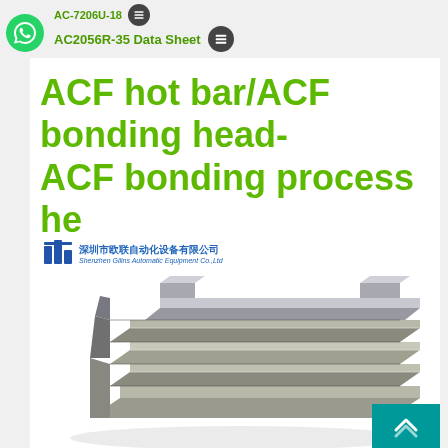AC-7206U-18
AC2056R-35 Data Sheet
ACF hot bar/ACF bonding head- ACF bonding process he
[Figure (logo): Shenzhen Gilins Automatic Equipment Co., Ltd company logo with Chinese text 深圳市欧联自动化设备有限公司]
[Figure (photo): Photo of an ACF bonding head / hot bar tool — a metallic precision block with horizontal grooves and slots, made of titanium or similar alloy, shown at an angle]